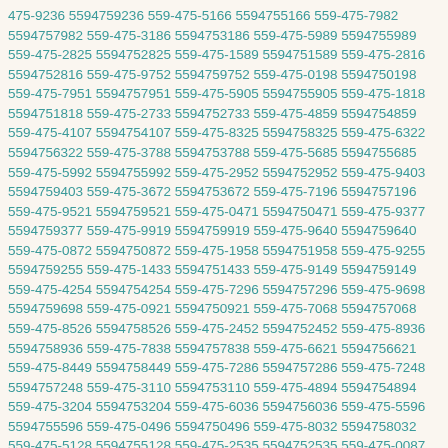475-9236 5594759236 559-475-5166 5594755166 559-475-7982 5594757982 559-475-3186 5594753186 559-475-5989 5594755989 559-475-2825 5594752825 559-475-1589 5594751589 559-475-2816 5594752816 559-475-9752 5594759752 559-475-0198 5594750198 559-475-7951 5594757951 559-475-5905 5594755905 559-475-1818 5594751818 559-475-2733 5594752733 559-475-4859 5594754859 559-475-4107 5594754107 559-475-8325 5594758325 559-475-6322 5594756322 559-475-3788 5594753788 559-475-5685 5594755685 559-475-5992 5594755992 559-475-2952 5594752952 559-475-9403 5594759403 559-475-3672 5594753672 559-475-7196 5594757196 559-475-9521 5594759521 559-475-0471 5594750471 559-475-9377 5594759377 559-475-9919 5594759919 559-475-9640 5594759640 559-475-0872 5594750872 559-475-1958 5594751958 559-475-9255 5594759255 559-475-1433 5594751433 559-475-9149 5594759149 559-475-4254 5594754254 559-475-7296 5594757296 559-475-9698 5594759698 559-475-0921 5594750921 559-475-7068 5594757068 559-475-8526 5594758526 559-475-2452 5594752452 559-475-8936 5594758936 559-475-7838 5594757838 559-475-6621 5594756621 559-475-8449 5594758449 559-475-7286 5594757286 559-475-7248 5594757248 559-475-3110 5594753110 559-475-4894 5594754894 559-475-3204 5594753204 559-475-6036 5594756036 559-475-5596 5594755596 559-475-0496 5594750496 559-475-8032 5594758032 559-475-5128 5594755128 559-475-2535 5594752535 559-475-0087 5594750087 559-475-8433 5594758433 559-475-7464 5594757464 559-475-3668 5594753668 559-475-7469 5594757469 559-475-4236 5594754236 559-475-7093 5594757093 559-475-2940 5594752940 559-475-7992 5594757992 559-475-5799 5594755799 559-475-2535